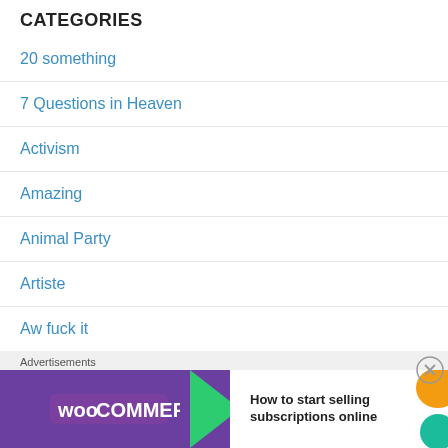CATEGORIES
20 something
7 Questions in Heaven
Activism
Amazing
Animal Party
Artiste
Aw fuck it
Advertisements
[Figure (screenshot): WooCommerce advertisement banner: purple background with WooCommerce logo on left, green arrow, and text 'How to start selling subscriptions online' on right with orange/teal decorative shapes.]